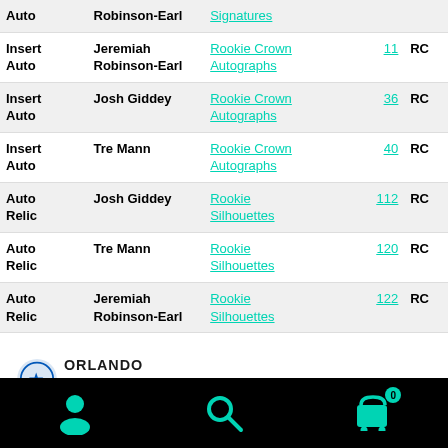| Type | Player | Set | No. |  |
| --- | --- | --- | --- | --- |
| Auto | Robinson-Earl | Signatures |  |  |
| Insert Auto | Jeremiah Robinson-Earl | Rookie Crown Autographs | 11 | RC |
| Insert Auto | Josh Giddey | Rookie Crown Autographs | 36 | RC |
| Insert Auto | Tre Mann | Rookie Crown Autographs | 40 | RC |
| Auto Relic | Josh Giddey | Rookie Silhouettes | 112 | RC |
| Auto Relic | Tre Mann | Rookie Silhouettes | 120 | RC |
| Auto Relic | Jeremiah Robinson-Earl | Rookie Silhouettes | 122 | RC |
[Figure (logo): Orlando Magic basketball team logo with text ORLANDO MAGIC in blue and black]